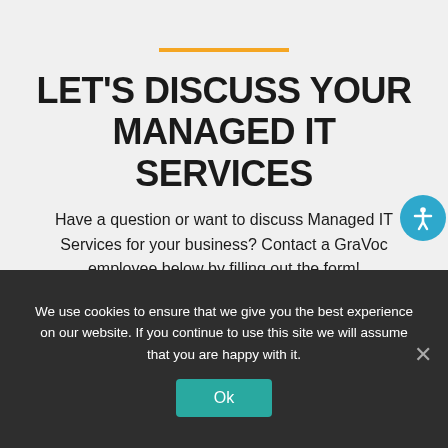LET'S DISCUSS YOUR MANAGED IT SERVICES
Have a question or want to discuss Managed IT Services for your business? Contact a GraVoc employee below by filling out the form!
We use cookies to ensure that we give you the best experience on our website. If you continue to use this site we will assume that you are happy with it.